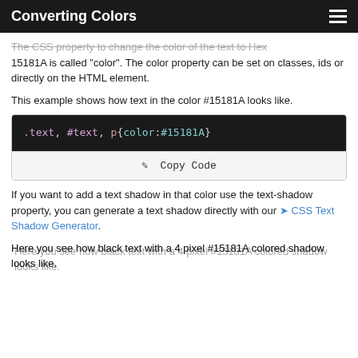Converting Colors
The CSS property to change the color of the text to Hex 15181A is called "color". The color property can be set on classes, ids or directly on the HTML element.
This example shows how text in the color #15181A looks like.
[Figure (screenshot): Code block showing CSS selector: .text, #text, p{color:#15181A} on dark background with a Copy Code button below]
If you want to add a text shadow in that color use the text-shadow property, you can generate a text shadow directly with our CSS Text Shadow Generator.
Here you see how black text with a 4 pixel #15181A colored shadow looks like.